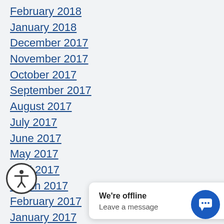February 2018
January 2018
December 2017
November 2017
October 2017
September 2017
August 2017
July 2017
June 2017
May 2017
April 2017
March 2017
February 2017
January 2017
December 2016
November 2016
October 2016
September 2016
We're offline
Leave a message